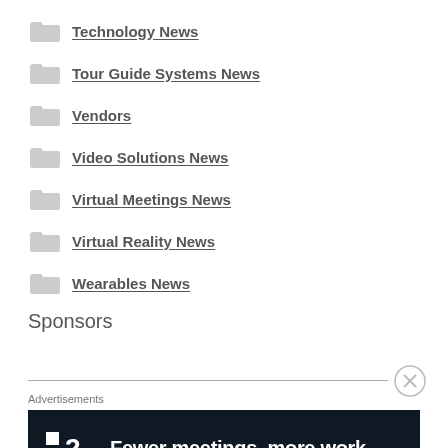Technology News
Tour Guide Systems News
Vendors
Video Solutions News
Virtual Meetings News
Virtual Reality News
Wearables News
Sponsors
Advertisements
[Figure (screenshot): Advertisement banner: dark navy background with F2 logo (two white squares with '2') and text 'Fewer meetings, more work.']